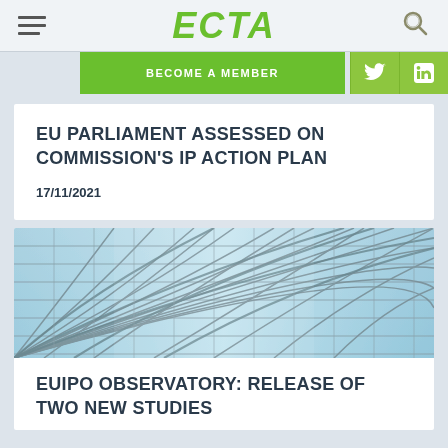ECTA
EU PARLIAMENT ASSESSED ON COMMISSION'S IP ACTION PLAN
17/11/2021
[Figure (photo): Glass ceiling / grid architectural photo in blue tones]
EUIPO OBSERVATORY: RELEASE OF TWO NEW STUDIES